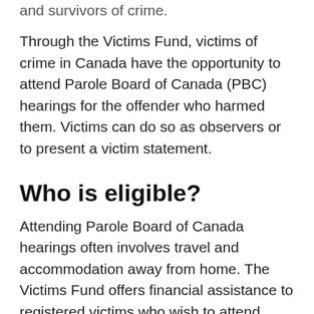and survivors of crime.
Through the Victims Fund, victims of crime in Canada have the opportunity to attend Parole Board of Canada (PBC) hearings for the offender who harmed them. Victims can do so as observers or to present a victim statement.
Who is eligible?
Attending Parole Board of Canada hearings often involves travel and accommodation away from home. The Victims Fund offers financial assistance to registered victims who wish to attend hearings for the offender...